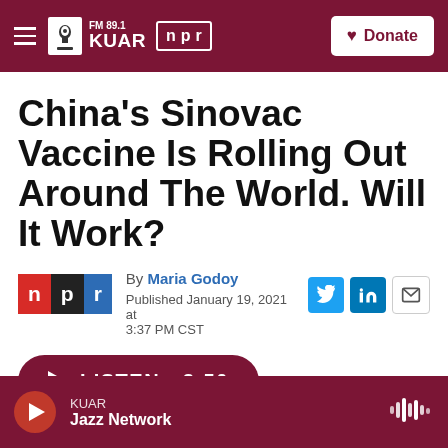FM 89.1 KUAR | npr | Donate
China's Sinovac Vaccine Is Rolling Out Around The World. Will It Work?
By Maria Godoy
Published January 19, 2021 at 3:37 PM CST
LISTEN • 3:50
KUAR Jazz Network